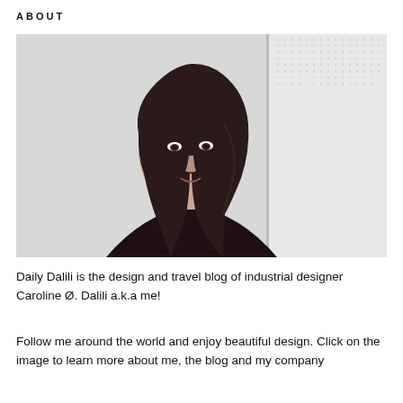ABOUT
[Figure (photo): Portrait photo of a young woman with dark hair wearing a dark bomber jacket, standing against a light grey wall]
Daily Dalili is the design and travel blog of industrial designer Caroline Ø. Dalili a.k.a me!
Follow me around the world and enjoy beautiful design. Click on the image to learn more about me, the blog and my company